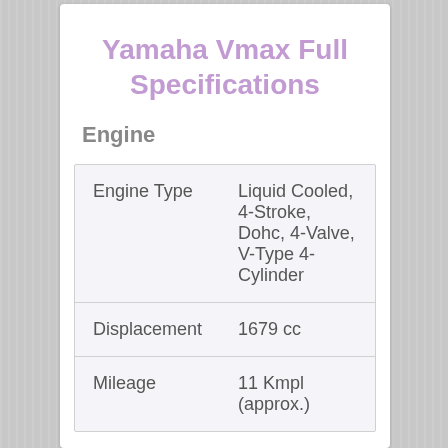Yamaha Vmax Full Specifications
Engine
| Engine Type | Liquid Cooled, 4-Stroke, Dohc, 4-Valve, V-Type 4-Cylinder |
| Displacement | 1679 cc |
| Mileage | 11 Kmpl (approx.) |